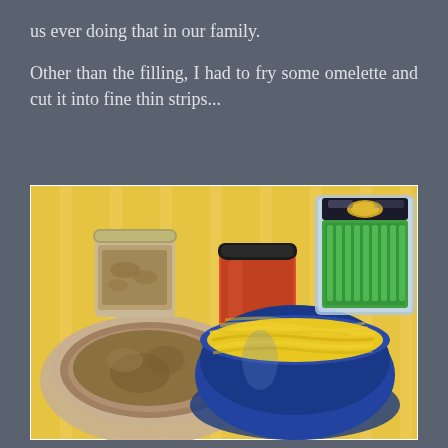us ever doing that in our family.
Other than the filling, I had to fry some omelette and cut it into fine thin strips...
[Figure (photo): A top-down view of cooking ingredients including a bowl of shredded yellow egg omelette strips in a blue glass bowl, a round bowl with brown stew/sauce, a jar of red sauce/jam, a container of brown crumbled ingredient, and a packaged tray of green vegetables (snap peas/green beans), arranged on a yellow striped surface.]